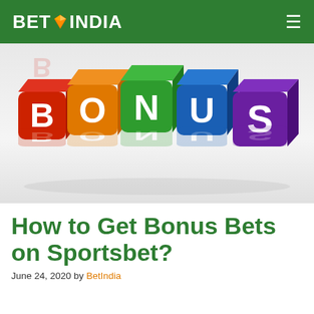BET INDIA
[Figure (illustration): Colorful 3D dice spelling BONUS - red die with B, orange die with O, green die with N, blue die with U, purple die with S, with reflections below on a white/grey surface.]
How to Get Bonus Bets on Sportsbet?
June 24, 2020 by BetIndia